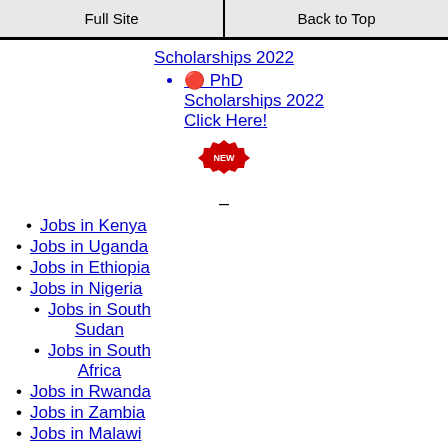Full Site | Back to Top
Scholarships 2022
🔴 PhD Scholarships 2022 Click Here!
[Figure (illustration): Red NEW badge/starburst icon]
–
Jobs in Kenya
Jobs in Uganda
Jobs in Ethiopia
Jobs in Nigeria
Jobs in South Sudan
Jobs in South Africa
Jobs in Rwanda
Jobs in Zambia
Jobs in Malawi
Jobs in Ghana